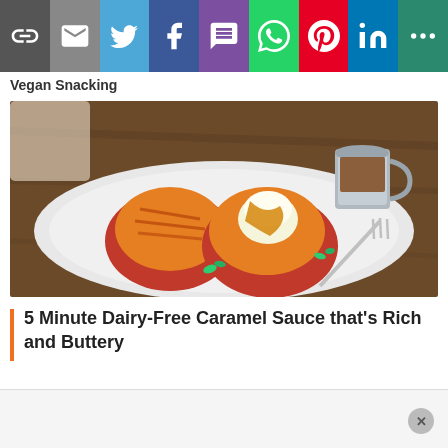Share buttons bar: link, email, Twitter, Facebook, SMS, WhatsApp, Pinterest, LinkedIn, More
Vegan Snacking
[Figure (photo): Two grilled peach halves topped with vanilla ice cream and caramel sauce on a white plate, with a small metal pitcher of caramel sauce and a fork, on a wooden table background.]
5 Minute Dairy-Free Caramel Sauce that's Rich and Buttery